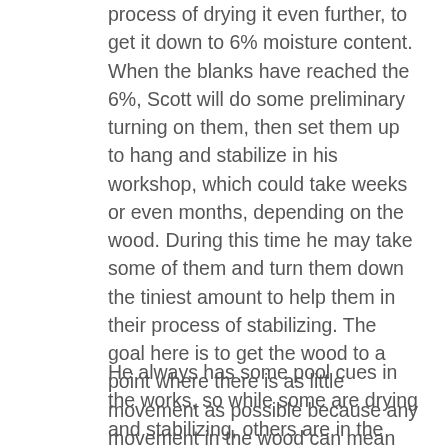process of drying it even further, to get it down to 6% moisture content. When the blanks have reached the 6%, Scott will do some preliminary turning on them, then set them up to hang and stabilize in his workshop, which could take weeks or even months, depending on the wood. During this time he may take some of them and turn them down the tiniest amount to help them in their process of stabilizing. The goal here is to get the wood to a point where there is as little movement as possible because any movement in the wood can mean the pool cue might not turn out perfectly straight and that is a key requirement.
He always has some pool cues in the works, so while some are drying and stabilizing, others are in the process of being built and they could be at any stage in the build process. There is a flow of wood and pool cues at almost every stage. The parts of the pool cues that are the most attractive are the butt and the forearm,